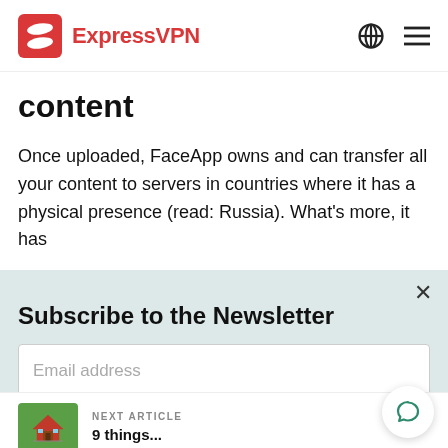ExpressVPN
content
Once uploaded, FaceApp owns and can transfer all your content to servers in countries where it has a physical presence (read: Russia). What's more, it has
Subscribe to the Newsletter
Email address
NEXT ARTICLE
9 things...